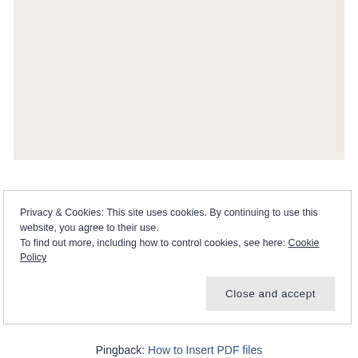[Figure (other): Light beige/tan colored rectangular image placeholder area]
Privacy & Cookies: This site uses cookies. By continuing to use this website, you agree to their use.
To find out more, including how to control cookies, see here: Cookie Policy
Close and accept
Pingback: How to Insert PDF files